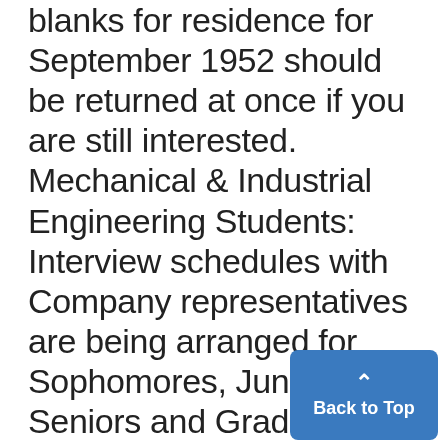blanks for residence for September 1952 should be returned at once if you are still interested. Mechanical & Industrial Engineering Students: Interview schedules with Company representatives are being arranged for Sophomores, Juniors, Seniors and Graduate students for summer 1952 employment, as well as permanent employment after graduation. Group meetings are often arranged for 5 or 7 p.m. and all students invited to attend. Following the interview schedules are arranged to